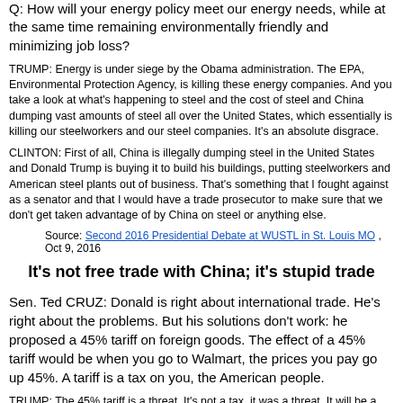Q: How will your energy policy meet our energy needs, while at the same time remaining environmentally friendly and minimizing job loss?
TRUMP: Energy is under siege by the Obama administration. The EPA, Environmental Protection Agency, is killing these energy companies. And you take a look at what's happening to steel and the cost of steel and China dumping vast amounts of steel all over the United States, which essentially is killing our steelworkers and our steel companies. It's an absolute disgrace.
CLINTON: First of all, China is illegally dumping steel in the United States and Donald Trump is buying it to build his buildings, putting steelworkers and American steel plants out of business. That's something that I fought against as a senator and that I would have a trade prosecutor to make sure that we don't get taken advantage of by China on steel or anything else.
Source: Second 2016 Presidential Debate at WUSTL in St. Louis MO , Oct 9, 2016
It's not free trade with China; it's stupid trade
Sen. Ted CRUZ: Donald is right about international trade. He's right about the problems. But his solutions don't work: he proposed a 45% tariff on foreign goods. The effect of a 45% tariff would be when you go to Walmart, the prices you pay go up 45%. A tariff is a tax on you, the American people.
TRUMP: The 45% tariff is a threat. It's not a tax, it was a threat. It will be a tax if they don't behave. Take China as an example. I have many friends, great manufacturers, they want to go into China. They can't. China won't let them. We talk about free trade. It's not tree free trade; it's stupid trade. China dumps everything that they have over here. No tax, no anything. We can't get into China.